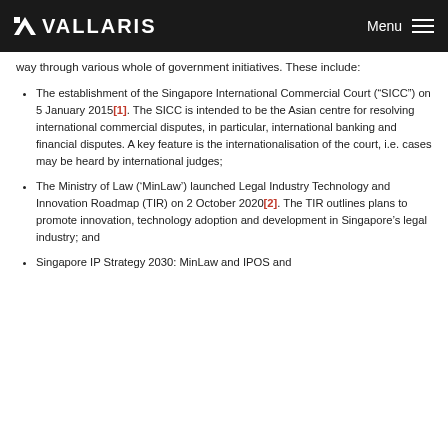VALLARIS | Menu
way through various whole of government initiatives. These include:
The establishment of the Singapore International Commercial Court (“SICC”) on 5 January 2015[1]. The SICC is intended to be the Asian centre for resolving international commercial disputes, in particular, international banking and financial disputes. A key feature is the internationalisation of the court, i.e. cases may be heard by international judges;
The Ministry of Law (‘MinLaw’) launched Legal Industry Technology and Innovation Roadmap (TIR) on 2 October 2020[2]. The TIR outlines plans to promote innovation, technology adoption and development in Singapore’s legal industry; and
Singapore IP Strategy 2030: MinLaw and IPOS and ...